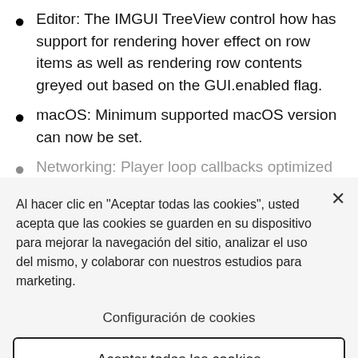Editor: The IMGUI TreeView control how has support for rendering hover effect on row items as well as rendering row contents greyed out based on the GUI.enabled flag.
macOS: Minimum supported macOS version can now be set.
Networking: Player loop callbacks optimized
Al hacer clic en “Aceptar todas las cookies”, usted acepta que las cookies se guarden en su dispositivo para mejorar la navegación del sitio, analizar el uso del mismo, y colaborar con nuestros estudios para marketing.
Configuración de cookies
Aceptar todas las cookies